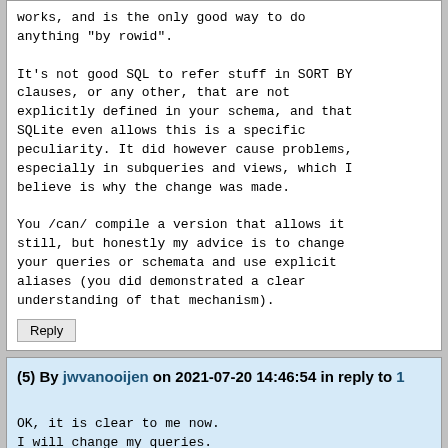works, and is the only good way to do anything "by rowid".

It's not good SQL to refer stuff in SORT BY clauses, or any other, that are not explicitly defined in your schema, and that SQLite even allows this is a specific peculiarity. It did however cause problems, especially in subqueries and views, which I believe is why the change was made.

You /can/ compile a version that allows it still, but honestly my advice is to change your queries or schemata and use explicit aliases (you did demonstrated a clear understanding of that mechanism).
Reply
(5) By jwvanooijen on 2021-07-20 14:46:54 in reply to 1
OK, it is clear to me now.
I will change my queries.
Thanks.